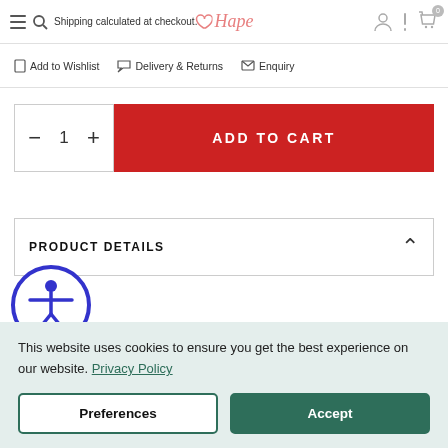Shipping calculated at checkout. Hape
Add to Wishlist  Delivery & Returns  Enquiry
- 1 +  ADD TO CART
PRODUCT DETAILS
[Figure (logo): Accessibility icon - circular badge with person figure]
Features
This website uses cookies to ensure you get the best experience on our website. Privacy Policy
Preferences  Accept